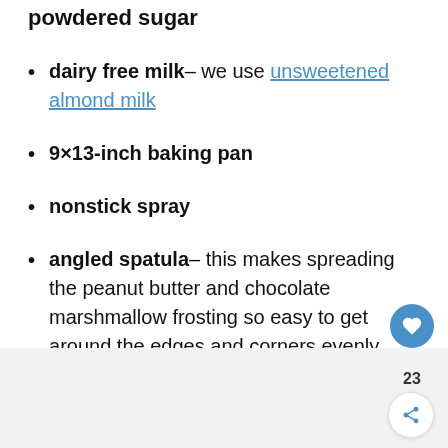dairy free milk— we use unsweetened almond milk
9×13-inch baking pan
nonstick spray
angled spatula— this makes spreading the peanut butter and chocolate marshmallow frosting so easy to get around the edges and corners evenly